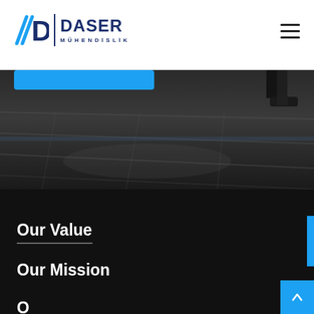[Figure (logo): Daser Mühendislik logo with blue D icon and company name]
[Figure (photo): Dark overhead view of a person walking on paved surface, with a blue button overlay in the upper left]
Our Value
Our Mission